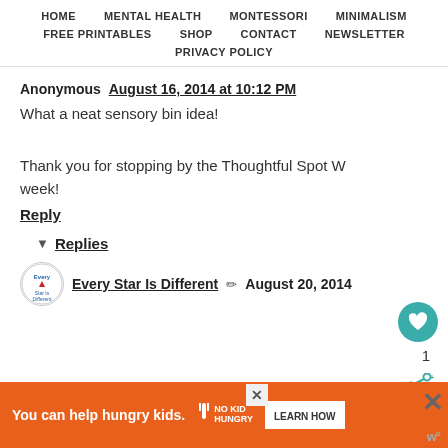HOME | MENTAL HEALTH | MONTESSORI | MINIMALISM | FREE PRINTABLES | SHOP | CONTACT | NEWSLETTER | PRIVACY POLICY
Anonymous August 16, 2014 at 10:12 PM
What a neat sensory bin idea!
Thank you for stopping by the Thoughtful Spot W... week!
Reply
▾ Replies
Every Star Is Different ✏ August 20, 2014
[Figure (other): Avatar/logo circle for Every Star Is Different blog]
[Figure (other): Teal heart/like button showing count of 1]
[Figure (other): Share button icon]
[Figure (other): Orange advertisement banner: You can help hungry kids. No Kid Hungry. LEARN HOW button with close X]